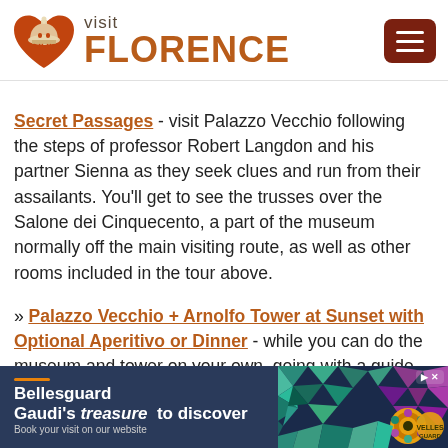[Figure (logo): Visit Florence logo with dome icon, orange/brown color scheme, and hamburger menu button]
Secret Passages - visit Palazzo Vecchio following the steps of professor Robert Langdon and his partner Sienna as they seek clues and run from their assailants. You'll get to see the trusses over the Salone dei Cinquecento, a part of the museum normally off the main visiting route, as well as other rooms included in the tour above.
» Palazzo Vecchio + Arnolfo Tower at Sunset with Optional Aperitivo or Dinner - while you can do the museum and tower on your own, going with a guide makes the history of the palace come alive! Truly exceptional considering it is followed by wine or a
[Figure (infographic): Advertisement banner for Bellesguard - Gaudi's treasure to discover, Book your visit on our website, with colorful mosaic tile imagery on right side]